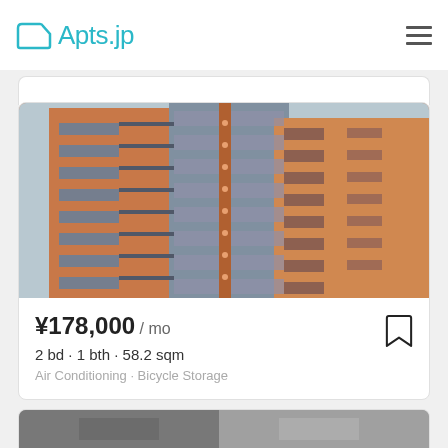Apts.jp
[Figure (photo): Exterior photo of a tall multi-story residential apartment building with terracotta/salmon colored facade and dark balconies and glass windows]
¥178,000 / mo
2 bd · 1 bth · 58.2 sqm
Air Conditioning · Bicycle Storage
[Figure (photo): Partial view of another apartment listing photo at the bottom of the page]